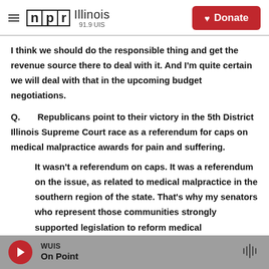NPR Illinois 91.9 UIS | Donate
I think we should do the responsible thing and get the revenue source there to deal with it. And I'm quite certain we will deal with that in the upcoming budget negotiations.
Q. Republicans point to their victory in the 5th District Illinois Supreme Court race as a referendum for caps on medical malpractice awards for pain and suffering.
It wasn't a referendum on caps. It was a referendum on the issue, as related to medical malpractice in the southern region of the state. That's why my senators who represent those communities strongly supported legislation to reform medical
WUIS | On Point